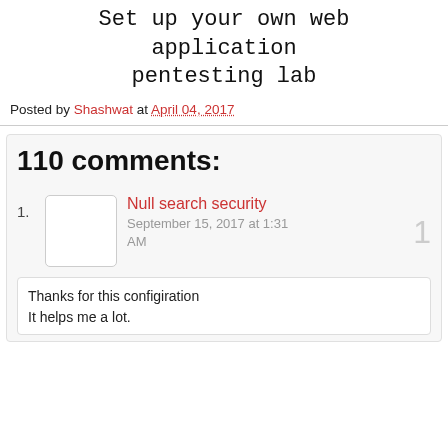Set up your own web application pentesting lab
Posted by Shashwat at April 04, 2017
110 comments:
Null search security
September 15, 2017 at 1:31 AM
Thanks for this configiration
It helps me a lot.